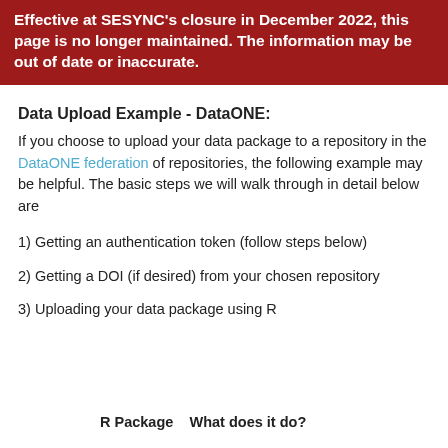Effective at SESYNC’s closure in December 2022, this page is no longer maintained. The information may be out of date or inaccurate.
Data Upload Example - DataONE:
If you choose to upload your data package to a repository in the DataONE federation of repositories, the following example may be helpful. The basic steps we will walk through in detail below are
1) Getting an authentication token (follow steps below)
2) Getting a DOI (if desired) from your chosen repository
3) Uploading your data package using R
R Package    What does it do?